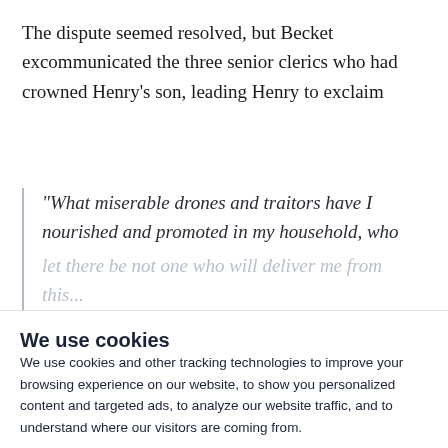The dispute seemed resolved, but Becket excommunicated the three senior clerics who had crowned Henry's son, leading Henry to exclaim
"What miserable drones and traitors have I nourished and promoted in my household, who
[faded continuation text]
We use cookies
We use cookies and other tracking technologies to improve your browsing experience on our website, to show you personalized content and targeted ads, to analyze our website traffic, and to understand where our visitors are coming from.
I agree | Change my preferences